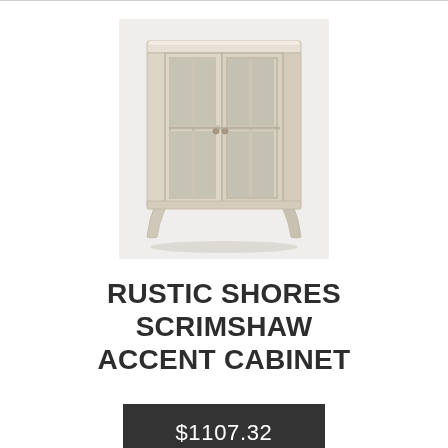[Figure (photo): A rustic white/cream distressed wood accent cabinet with two glass-paned doors, each divided into four panes, showing interior shelving. The cabinet has curved legs and a classic farmhouse style finish.]
RUSTIC SHORES SCRIMSHAW ACCENT CABINET
$1107.32